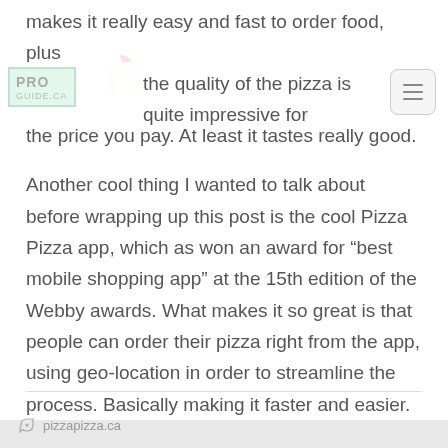makes it really easy and fast to order food, plus the quality of the pizza is quite impressive for the price you pay. At least it tastes really good.

Another cool thing I wanted to talk about before wrapping up this post is the cool Pizza Pizza app, which as won an award for “best mobile shopping app” at the 15th edition of the Webby awards. What makes it so great is that people can order their pizza right from the app, using geo-location in order to streamline the process. Basically making it faster and easier.
pizzapizza.ca